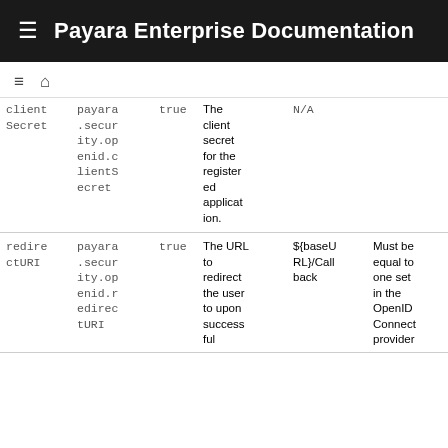Payara Enterprise Documentation
| Name | System Property | Required | Description | Default | Notes |
| --- | --- | --- | --- | --- | --- |
| clientSecret | payara.security.openid.clientSecret | true | The client secret for the registered application. | N/A |  |
| redirectURI | payara.security.openid.redirectURI | true | The URL to redirect the user to upon successful | ${baseURL}/Callback | Must be equal to one set in the OpenID Connect provider |